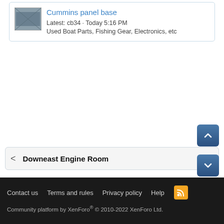Cummins panel base
Latest: cb34 · Today 5:16 PM
Used Boat Parts, Fishing Gear, Electronics, etc
< Downeast Engine Room
Contact us   Terms and rules   Privacy policy   Help   Community platform by XenForo® © 2010-2022 XenForo Ltd.